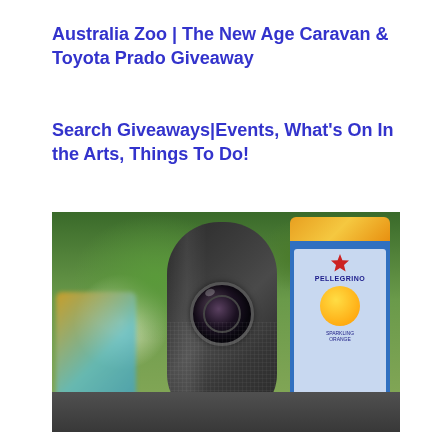Australia Zoo | The New Age Caravan & Toyota Prado Giveaway
Search Giveaways|Events, What’s On In the Arts, Things To Do!
[Figure (photo): Photo of a small cylindrical portable projector (dark grey/black) with a lens visible in the upper portion, placed next to a San Pellegrino sparkling water can (blue and orange/yellow) on a dark surface, with a green background and another blurred can to the left.]